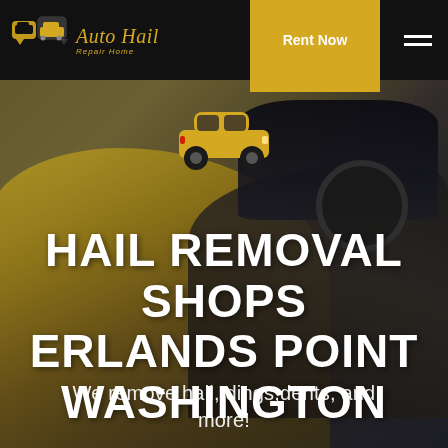[Figure (logo): Auto Hail Repair Home logo with car speech bubble icon and stylized italic text in gold on black background]
Rent Now
HAIL REMOVAL SHOPS ERLANDS POINT WASHINGTON
We remove hail, dings,dents, and more!